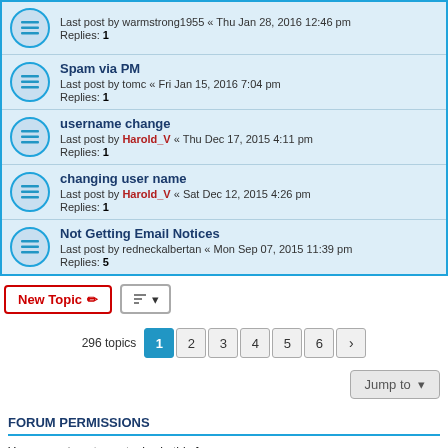Last post by warmstrong1955 « Thu Jan 28, 2016 12:46 pm
Replies: 1
Spam via PM
Last post by tomc « Fri Jan 15, 2016 7:04 pm
Replies: 1
username change
Last post by Harold_V « Thu Dec 17, 2015 4:11 pm
Replies: 1
changing user name
Last post by Harold_V « Sat Dec 12, 2015 4:26 pm
Replies: 1
Not Getting Email Notices
Last post by redneckalbertan « Mon Sep 07, 2015 11:39 pm
Replies: 5
296 topics  1 2 3 4 5 6 >
Jump to
FORUM PERMISSIONS
You cannot post new topics in this forum
You cannot reply to topics in this forum
You cannot edit your posts in this forum
You cannot delete your posts in this forum
You cannot post attachments in this forum